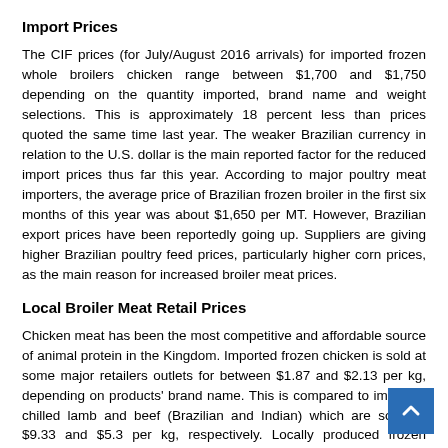Import Prices
The CIF prices (for July/August 2016 arrivals) for imported frozen whole broilers chicken range between $1,700 and $1,750 depending on the quantity imported, brand name and weight selections. This is approximately 18 percent less than prices quoted the same time last year. The weaker Brazilian currency in relation to the U.S. dollar is the main reported factor for the reduced import prices thus far this year. According to major poultry meat importers, the average price of Brazilian frozen broiler in the first six months of this year was about $1,650 per MT. However, Brazilian export prices have been reportedly going up. Suppliers are giving higher Brazilian poultry feed prices, particularly higher corn prices, as the main reason for increased broiler meat prices.
Local Broiler Meat Retail Prices
Chicken meat has been the most competitive and affordable source of animal protein in the Kingdom. Imported frozen chicken is sold at some major retailers outlets for between $1.87 and $2.13 per kg, depending on products' brand name. This is compared to imported chilled lamb and beef (Brazilian and Indian) which are sold for $9.33 and $5.3 per kg, respectively. Locally produced frozen chicken is sold for up to $3.73 per kg compared to domestically produced fresh lamb and veal wh sold for $14.67 and $15.47 per kg, respectively. The wholesale p